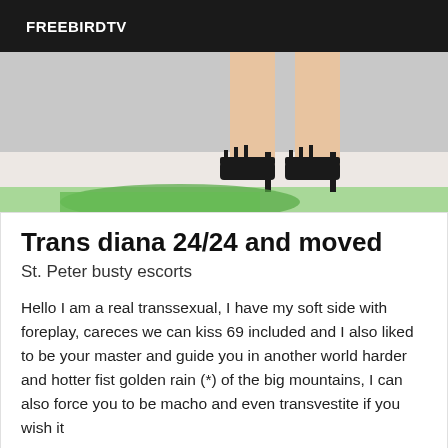FREEBIRDTV
[Figure (photo): Close-up photo of legs wearing strappy black high-heel shoes, standing on a light surface with green fabric visible at bottom]
Trans diana 24/24 and moved
St. Peter busty escorts
Hello I am a real transsexual, I have my soft side with foreplay, careces we can kiss 69 included and I also liked to be your master and guide you in another world harder and hotter fist golden rain (*) of the big mountains, I can also force you to be macho and even transvestite if you wish it
[Figure (photo): Partial photo showing a figure in a blue/dark outfit, cropped at bottom of page]